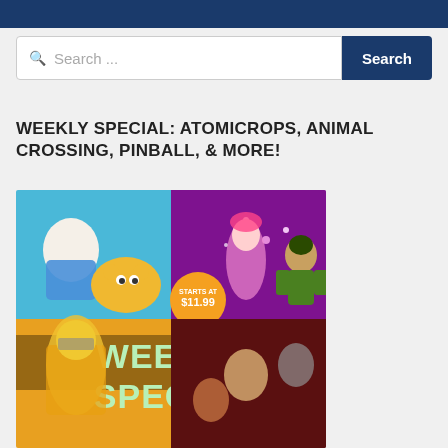Search ...
WEEKLY SPECIAL: ATOMICROPS, ANIMAL CROSSING, PINBALL, & MORE!
[Figure (illustration): Weekly Special promotional banner showing cartoon characters (Adventure Time characters, a fighting game character, Ben 10), a hockey player, and movie characters with text 'WEEKLY SPECIAL' and 'STARTS AT $11.99']